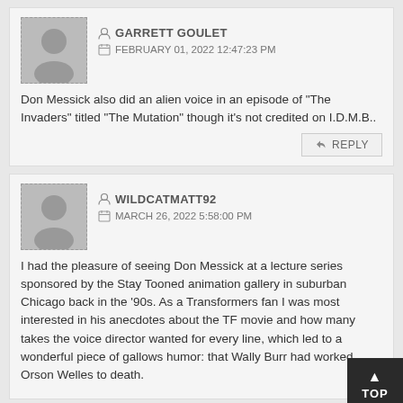GARRETT GOULET
FEBRUARY 01, 2022 12:47:23 PM
Don Messick also did an alien voice in an episode of “The Invaders” titled “The Mutation” though it’s not credited on I.D.M.B..
REPLY
WILDCATMATT92
MARCH 26, 2022 5:58:00 PM
I had the pleasure of seeing Don Messick at a lecture series sponsored by the Stay Tooned animation gallery in suburban Chicago back in the ’90s. As a Transformers fan I was most interested in his anecdotes about the TF movie and how many takes the voice director wanted for every line, which led to a wonderful piece of gallows humor: that Wally Burr had worked Orson Welles to death.
TOP